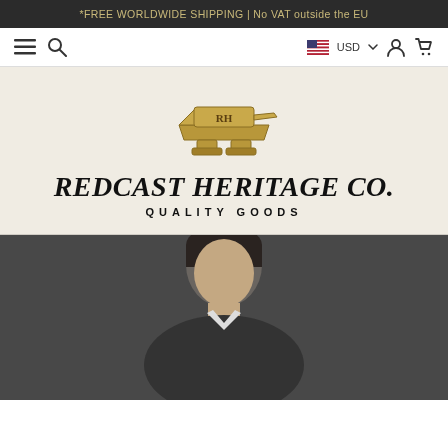*FREE WORLDWIDE SHIPPING | No VAT outside the EU
[Figure (screenshot): Navigation bar with hamburger menu, search icon, USD currency selector, account icon, and cart icon]
[Figure (logo): Redcast Heritage Co. logo featuring a golden anvil illustration above the brand name 'REDCAST HERITAGE Co.' in serif blackletter font with tagline 'QUALITY GOODS' below]
[Figure (photo): Partial photo of a man with dark hair against a dark gray background, showing head and upper body]